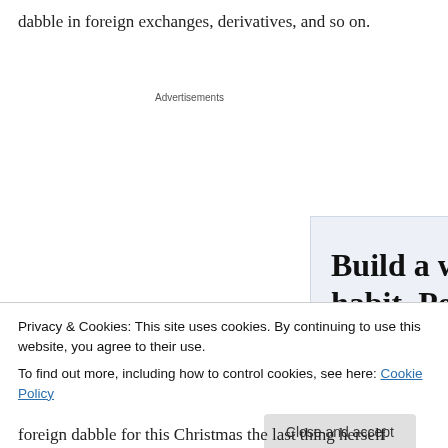dabble in foreign exchanges, derivatives, and so on.
Advertisements
[Figure (other): WordPress advertisement showing text 'Build a writing habit. Post on the go.' with a 'GET THE APP' call to action and WordPress logo]
Privacy & Cookies: This site uses cookies. By continuing to use this website, you agree to their use.
To find out more, including how to control cookies, see here: Cookie Policy
Close and accept
foreign dabble for this Christmas the last thing herself